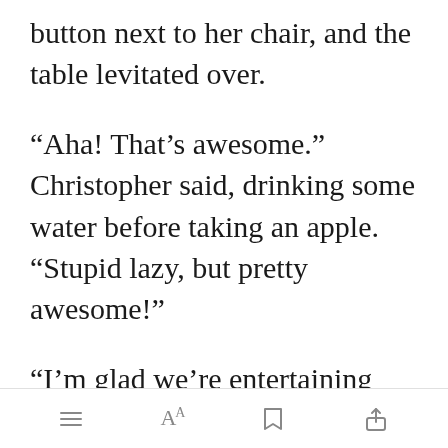button next to her chair, and the table levitated over.
“Aha! That’s awesome.” Christopher said, drinking some water before taking an apple. “Stupid lazy, but pretty awesome!”
“I’m glad we’re entertaining you, Christopher.” She stood up and grabbed a dat[Open in app]m a shelf
toolbar icons: menu, font size, bookmark, share